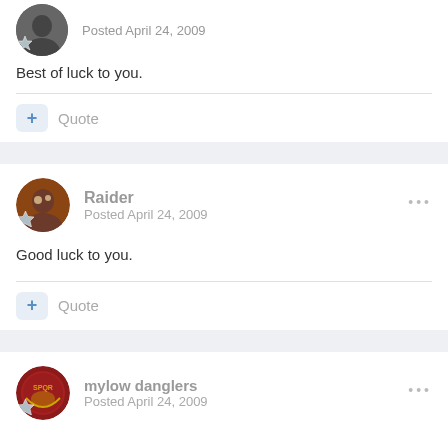Posted April 24, 2009
Best of luck to you.
Quote
Raider
Posted April 24, 2009
Good luck to you.
Quote
mylow danglers
Posted April 24, 2009